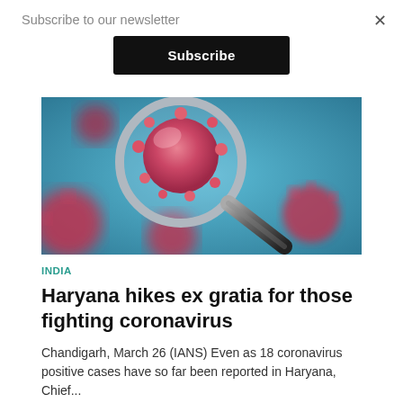Subscribe to our newsletter
Subscribe
×
[Figure (photo): Microscopic image of coronavirus (COVID-19) with a magnifying glass highlighting a pink/red virus particle against a teal/blue background with multiple other virus particles visible.]
INDIA
Haryana hikes ex gratia for those fighting coronavirus
Chandigarh, March 26 (IANS) Even as 18 coronavirus positive cases have so far been reported in Haryana, Chief...
BY IANS · MARCH 26, 2020